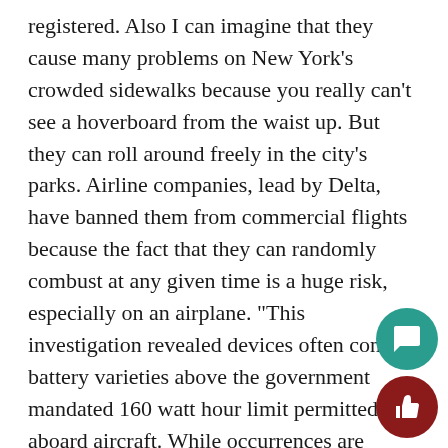registered. Also I can imagine that they cause many problems on New York's crowded sidewalks because you really can't see a hoverboard from the waist up. But they can roll around freely in the city's parks. Airline companies, lead by Delta, have banned them from commercial flights because the fact that they can randomly combust at any given time is a huge risk, especially on an airplane. “This investigation revealed devices often contain battery varieties above the government mandated 160 watt hour limit permitted aboard aircraft. While occurrences are uncommon, these batteries can spontaneously overheat and pose a fire hazard risk,” said Delta in a message to their customers back in mid-December 2015. Almost every major airline has banned hoverboards from commercial flights since then. In the United Kingdom, they have created legislation surrounding where hoverboards can be ridden and they also recalled around 32,000 self-
[Figure (illustration): Teal/green circular chat bubble icon button]
[Figure (illustration): Dark red circular thumbs-up icon button]